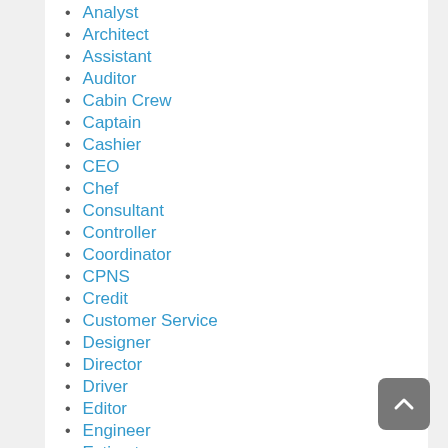Analyst
Architect
Assistant
Auditor
Cabin Crew
Captain
Cashier
CEO
Chef
Consultant
Controller
Coordinator
CPNS
Credit
Customer Service
Designer
Director
Driver
Editor
Engineer
Estimator
General Affair
HRD